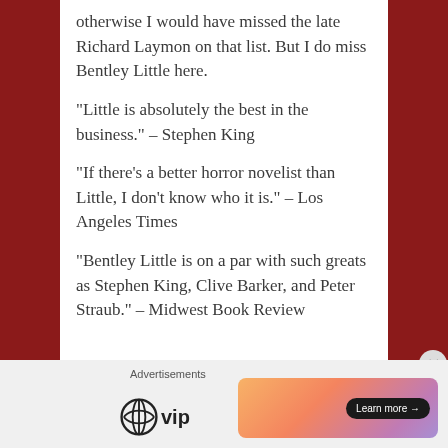otherwise I would have missed the late Richard Laymon on that list. But I do miss Bentley Little here.
“Little is absolutely the best in the business.” – Stephen King
“If there’s a better horror novelist than Little, I don’t know who it is.” – Los Angeles Times
“Bentley Little is on a par with such greats as Stephen King, Clive Barker, and Peter Straub.” – Midwest Book Review
[Figure (other): WordPress VIP logo and advertisement banner with 'Learn more' button]